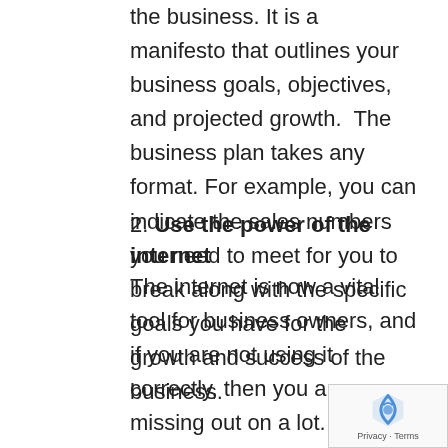the business. It is a manifesto that outlines your business goals, objectives, and projected growth. The business plan takes any format. For example, you can indicate the sales numbers you need to meet for you to break along with the specific goals you have for the growth and success of the business.
2. Use the power of the internet
The internet is now a vital tool for business owners, and if you are not using it correctly, then you are missing out on a lot. Business owners can now connect easily with their customers via social media. Whether you run a local business or an international one, social media allows you to reach out to your customers and build a close relationship that